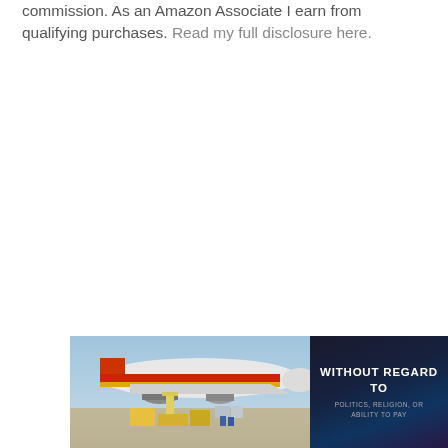commission. As an Amazon Associate I earn from qualifying purchases. Read my full disclosure here.
[Figure (photo): A cargo aircraft being loaded on the tarmac, with a red and yellow livery visible on the fuselage. Next to it is a dark banner image with text 'WITHOUT REGARD TO POLITICS, RELIGION, OR ABILITY TO PAY'.]